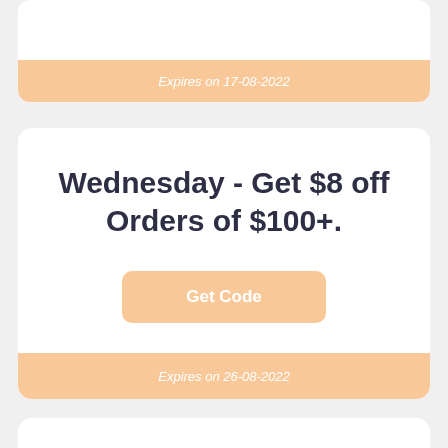Expires on 17-08-2022
Wednesday - Get $8 off Orders of $100+.
Get Code
Expires on 26-08-2022